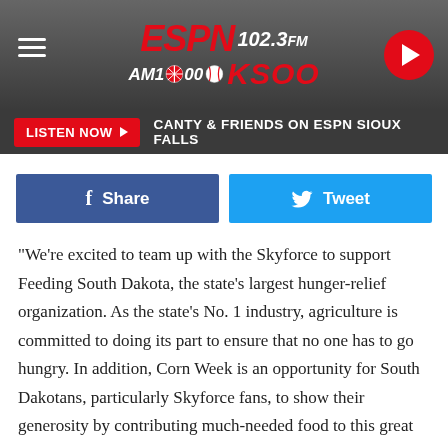[Figure (screenshot): ESPN 102.3 FM AM1000 KSOO radio station header banner with logo, menu icon, and play button]
LISTEN NOW ▶  CANTY & FRIENDS ON ESPN SIOUX FALLS
Share  Tweet
“We’re excited to team up with the Skyforce to support Feeding South Dakota, the state’s largest hunger-relief organization. As the state’s No. 1 industry, agriculture is committed to doing its part to ensure that no one has to go hungry. In addition, Corn Week is an opportunity for South Dakotans, particularly Skyforce fans, to show their generosity by contributing much-needed food to this great cause.”
Matt Gassen the CEO of Feeding South Dakota was equally giddy about the prospect of reducing hunger locally.